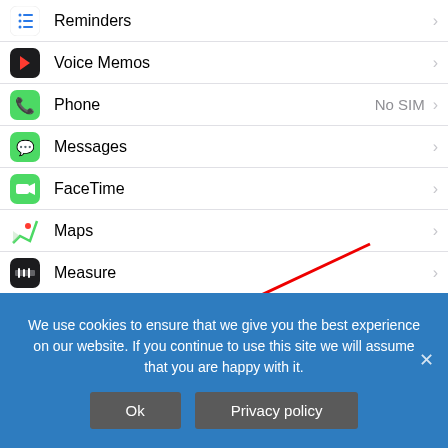[Figure (screenshot): iOS Settings app list showing: Reminders, Voice Memos, Phone (No SIM), Messages, FaceTime, Maps, Measure, Safari (highlighted with red circle annotation and red arrow pointing to it), Music, Photos. Safari row is highlighted/selected.]
We use cookies to ensure that we give you the best experience on our website. If you continue to use this site we will assume that you are happy with it.
Ok
Privacy policy